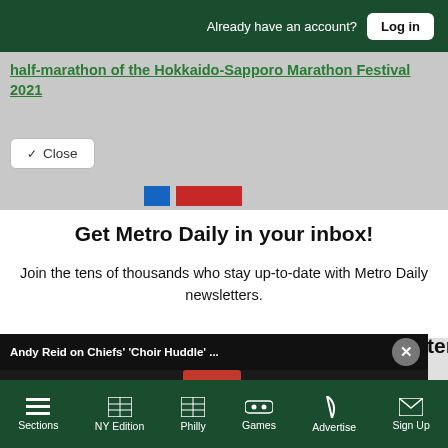Already have an account? Log in
half-marathon of the Hokkaido-Sapporo Marathon Festival 2021
Close
Get Metro Daily in your inbox!
Join the tens of thousands who stay up-to-date with Metro Daily newsletters.
[Figure (screenshot): Video panel showing Andy Reid on Chiefs 'Choir Huddle' press conference with caption 'Chiefs pay tribute to legendary QB Len Dawson tonight'. Mute button visible. Close (X) button in upper right of video.]
Sections  NY Edition  Philly  Games  Advertise  Sign Up